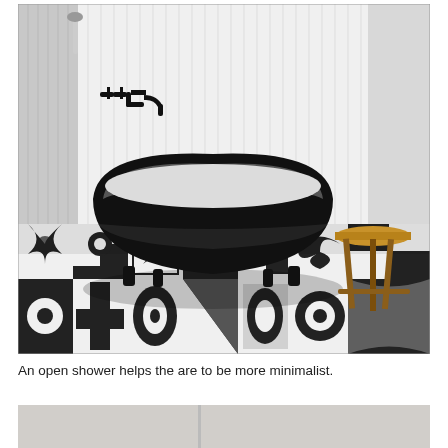[Figure (photo): Black and white photograph of a minimalist bathroom featuring a black freestanding clawfoot bathtub with white interior, mounted black wall faucet, white vertical shiplap wall paneling, decorative black and white patterned encaustic floor tiles in various geometric and floral patterns, and a wooden stool in the right background.]
An open shower helps the are to be more minimalist.
[Figure (photo): Partial view of another bathroom photo, showing the top portion with light grey/beige tones.]